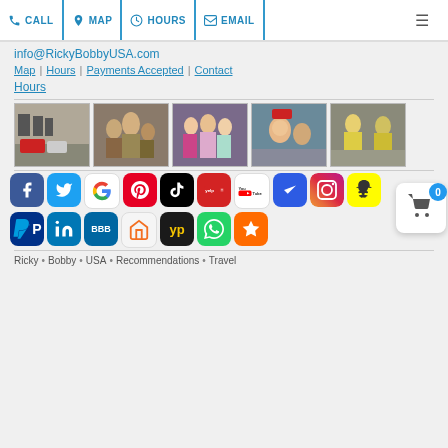CALL | MAP | HOURS | EMAIL
info@RickyBobbyUSA.com
Map | Hours | Payments Accepted | Contact
Hours
[Figure (photo): Five photos: racetrack with cars and people, group of people outdoors, group at event/party, selfie at racetrack, people in yellow rain gear]
[Figure (infographic): Social media icon grid: Facebook, Twitter, Google, Pinterest, TikTok, Yelp, YouTube, Foursquare/Waze, Instagram, Snapchat, PayPal, LinkedIn, BBB, HomeAdvisor, YellowPages, WhatsApp, Yelp Stars]
Ricky • Bobby • USA • Recommendations • Travel